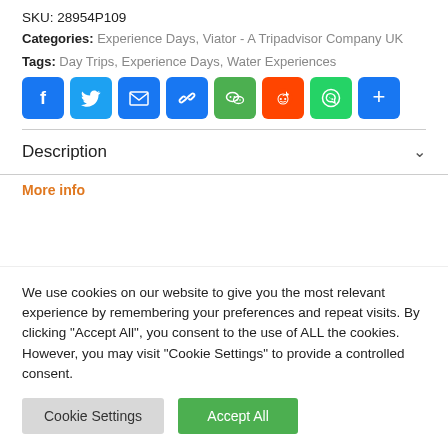SKU: 28954P109
Categories: Experience Days, Viator - A Tripadvisor Company UK
Tags: Day Trips, Experience Days, Water Experiences
[Figure (infographic): Row of social sharing icons: Facebook (blue), Twitter (blue), Email (blue), Link/Copy (blue), WeChat (green), Reddit (orange-red), WhatsApp (green), Share/More (blue)]
Description
We use cookies on our website to give you the most relevant experience by remembering your preferences and repeat visits. By clicking "Accept All", you consent to the use of ALL the cookies. However, you may visit "Cookie Settings" to provide a controlled consent.